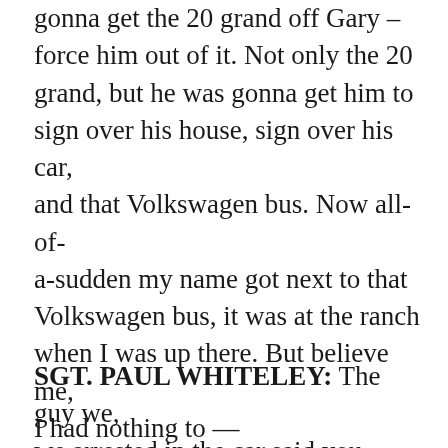gonna get the 20 grand off Gary – force him out of it. Not only the 20 grand, but he was gonna get him to sign over his house, sign over his car, and that Volkswagen bus. Now all-of-a-sudden my name got next to that Volkswagen bus, it was at the ranch when I was up there. But believe me, I had nothing to —
SGT. PAUL WHITELEY: The guy we, we arrested in the car said you were